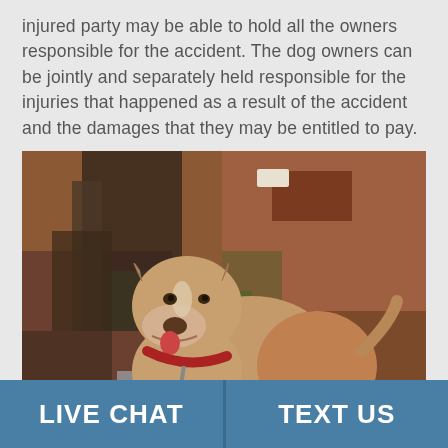injured party may be able to hold all the owners responsible for the accident. The dog owners can be jointly and separately held responsible for the injuries that happened as a result of the accident and the damages that they may be entitled to pay.
[Figure (photo): A tan/brown pit bull type dog wearing a red collar with a chain leash, standing in front of a rusted metal structure with green moss, looking at the camera.]
LIVE CHAT | TEXT US